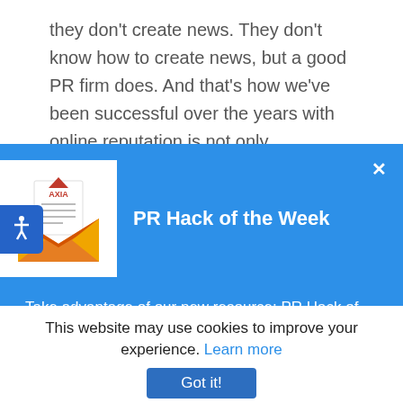they don't create news. They don't know how to create news, but a good PR firm does. And that's how we've been successful over the years with online reputation is not only understanding how to do the SEO and how to do the technical side and the
[Figure (screenshot): PR Hack of the Week popup overlay with blue background, envelope illustration, title, body text, and close button]
PR Hack of the Week
Take advantage of our new resource: PR Hack of the Week.
Each week, we'll deliver a quick and free tip about news, social, and web media.
This website may use cookies to improve your experience. Learn more
Got it!